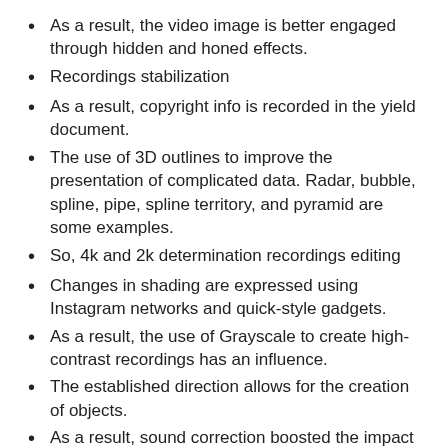As a result, the video image is better engaged through hidden and honed effects.
Recordings stabilization
As a result, copyright info is recorded in the yield document.
The use of 3D outlines to improve the presentation of complicated data. Radar, bubble, spline, pipe, spline territory, and pyramid are some examples.
So, 4k and 2k determination recordings editing
Changes in shading are expressed using Instagram networks and quick-style gadgets.
As a result, the use of Grayscale to create high-contrast recordings has an influence.
The established direction allows for the creation of objects.
As a result, sound correction boosted the impact of the soundtrack.